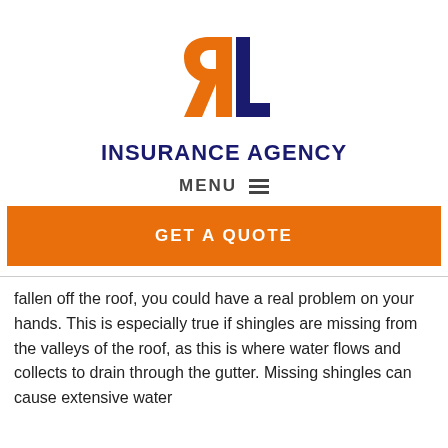[Figure (logo): RL Insurance Agency logo — stylized mirrored R in orange and L in navy blue]
INSURANCE AGENCY
MENU ☰
GET A QUOTE
fallen off the roof, you could have a real problem on your hands. This is especially true if shingles are missing from the valleys of the roof, as this is where water flows and collects to drain through the gutter. Missing shingles can cause extensive water